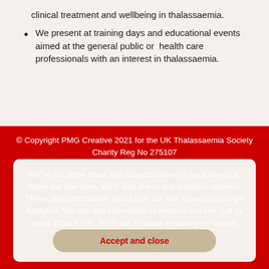clinical treatment and wellbeing in thalassaemia.
We present at training days and educational events aimed at the general public or  health care professionals with an interest in thalassaemia.
© Copyright PMG Creative 2021 for the UK Thalassaemia Society Charity Reg No 275107
We've put some small files called cookies on your device to make our site work. We'd also like to use analytics cookies. These send information about how our site is used to Google Analytics. We use this information to improve our site. Let us know if this is OK. We'll use a cookie to save your choice.
Accept and close